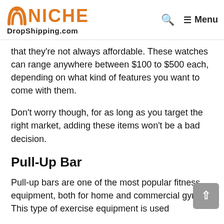NICHE DropShipping.com — Menu
that they're not always affordable. These watches can range anywhere between $100 to $500 each, depending on what kind of features you want to come with them.
Don't worry though, for as long as you target the right market, adding these items won't be a bad decision.
Pull-Up Bar
Pull-up bars are one of the most popular fitness equipment, both for home and commercial gyms. This type of exercise equipment is used